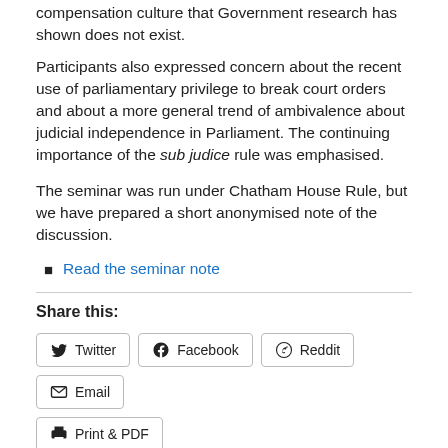compensation culture that Government research has shown does not exist.
Participants also expressed concern about the recent use of parliamentary privilege to break court orders and about a more general trend of ambivalence about judicial independence in Parliament. The continuing importance of the sub judice rule was emphasised.
The seminar was run under Chatham House Rule, but we have prepared a short anonymised note of the discussion.
Read the seminar note
Share this:
Twitter
Facebook
Reddit
Email
Print & PDF